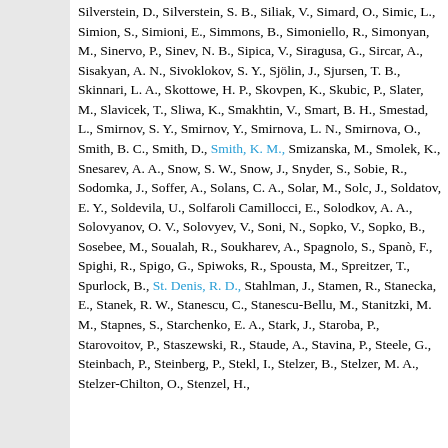Silverstein, D., Silverstein, S. B., Siliak, V., Simard, O., Simic, L., Simion, S., Simioni, E., Simmons, B., Simoniello, R., Simonyan, M., Sinervo, P., Sinev, N. B., Sipica, V., Siragusa, G., Sircar, A., Sisakyan, A. N., Sivoklokov, S. Y., Sjölin, J., Sjursen, T. B., Skinnari, L. A., Skottowe, H. P., Skovpen, K., Skubic, P., Slater, M., Slavicek, T., Sliwa, K., Smakhtin, V., Smart, B. H., Smestad, L., Smirnov, S. Y., Smirnov, Y., Smirnova, L. N., Smirnova, O., Smith, B. C., Smith, D., Smith, K. M., Smizanska, M., Smolek, K., Snesarev, A. A., Snow, S. W., Snow, J., Snyder, S., Sobie, R., Sodomka, J., Soffer, A., Solans, C. A., Solar, M., Solc, J., Soldatov, E. Y., Soldevila, U., Solfaroli Camillocci, E., Solodkov, A. A., Solovyanov, O. V., Solovyev, V., Soni, N., Sopko, V., Sopko, B., Sosebee, M., Soualah, R., Soukharev, A., Spagnolo, S., Spanò, F., Spighi, R., Spigo, G., Spiwoks, R., Spousta, M., Spreitzer, T., Spurlock, B., St. Denis, R. D., Stahlman, J., Stamen, R., Stanecka, E., Stanek, R. W., Stanescu, C., Stanescu-Bellu, M., Stanitzki, M. M., Stapnes, S., Starchenko, E. A., Stark, J., Staroba, P., Starovoitov, P., Staszewski, R., Staude, A., Stavina, P., Steele, G., Steinbach, P., Steinberg, P., Stekl, I., Stelzer, B., Stelzer, M. A., Stelzer-Chilton, O., Stenzel, H.,...